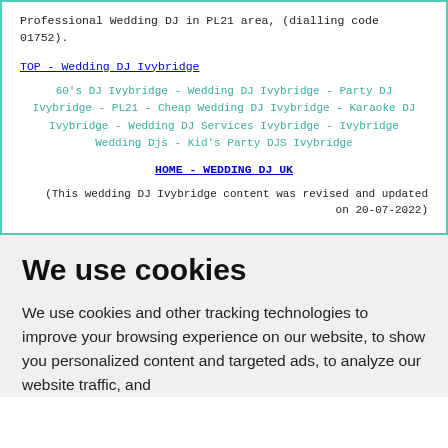Professional Wedding DJ in PL21 area, (dialling code 01752).
TOP - Wedding DJ Ivybridge
60's DJ Ivybridge - Wedding DJ Ivybridge - Party DJ Ivybridge - PL21 - Cheap Wedding DJ Ivybridge - Karaoke DJ Ivybridge - Wedding DJ Services Ivybridge - Ivybridge Wedding Djs - Kid's Party DJS Ivybridge
HOME - WEDDING DJ UK
(This wedding DJ Ivybridge content was revised and updated on 20-07-2022)
We use cookies
We use cookies and other tracking technologies to improve your browsing experience on our website, to show you personalized content and targeted ads, to analyze our website traffic, and